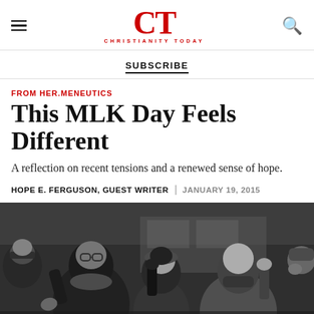CT CHRISTIANITY TODAY
SUBSCRIBE
FROM HER.MENEUTICS
This MLK Day Feels Different
A reflection on recent tensions and a renewed sense of hope.
HOPE E. FERGUSON, GUEST WRITER | JANUARY 19, 2015
[Figure (photo): Black and white photograph of a diverse group of protesters with hands raised in a 'hands up' gesture, wearing winter coats and hats, standing outdoors on a city street.]